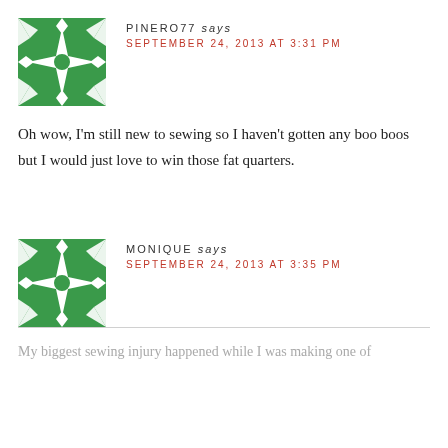[Figure (illustration): Green and white geometric/quilted avatar icon for user PINERO77]
PINERO77 says
SEPTEMBER 24, 2013 AT 3:31 PM
Oh wow, I'm still new to sewing so I haven't gotten any boo boos but I would just love to win those fat quarters.
[Figure (illustration): Green and white geometric/quilted avatar icon for user MONIQUE]
MONIQUE says
SEPTEMBER 24, 2013 AT 3:35 PM
My biggest sewing injury happened while I was making one of